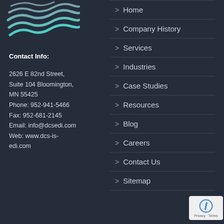[Figure (logo): DCS company logo with wavy lines in teal/white on dark background]
Contact Info:

2626 E 82nd Street, Suite 104 Bloomington, MN 55425
Phone: 952-941-5466
Fax: 952-681-2145
Email: info@dcsedi.com
Web: www.dcs-is-edi.com
> Home
> Company History
> Services
> Industries
> Case Studies
> Resources
> Blog
> Careers
> Contact Us
> Sitemap